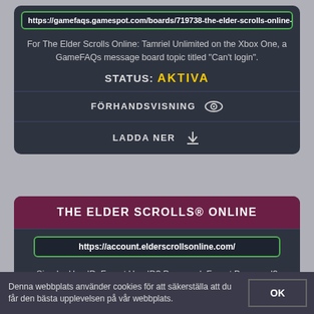https://gamefaqs.gamespot.com/boards/719738-the-elder-scrolls-online-
For The Elder Scrolls Online: Tamriel Unlimited on the Xbox One, a GameFAQs message board topic titled "Can't login".
STATUS: AKTIVA
FÖRHANDSVISNING
LADDA NER
THE ELDER SCROLLS® ONLINE
https://account.elderscrollsonline.com/
Sign In. UserID: Forgot UserID? Password: Forgot Password? Keep Me Signed In. Sign In ... Don't have an account for The Elder Scrolls® Online? You'll need ...
Denna webbplats använder cookies för att säkerställa att du får den bästa upplevelsen på vår webbplats.